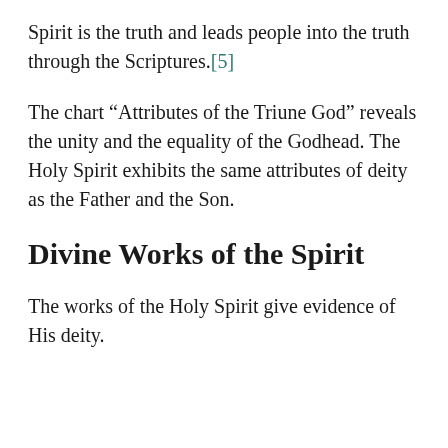Spirit is the truth and leads people into the truth through the Scriptures.[5]
The chart “Attributes of the Triune God” reveals the unity and the equality of the Godhead. The Holy Spirit exhibits the same attributes of deity as the Father and the Son.
Divine Works of the Spirit
The works of the Holy Spirit give evidence of His deity.